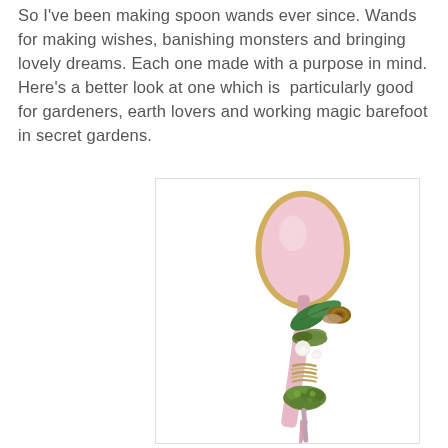So I've been making spoon wands ever since. Wands for making wishes, banishing monsters and bringing lovely dreams. Each one made with a purpose in mind. Here's a better look at one which is particularly good for gardeners, earth lovers and working magic barefoot in secret gardens.
[Figure (photo): A decorative spoon wand painted pink with a gold glitter edge. The handle is adorned with green leaves, a small snail, white roses, moss, and twine wrapped around it. The spoon bowl is pink with gold sparkle trim. Watermark reads: © NICHOLA BATTILANA 2013]